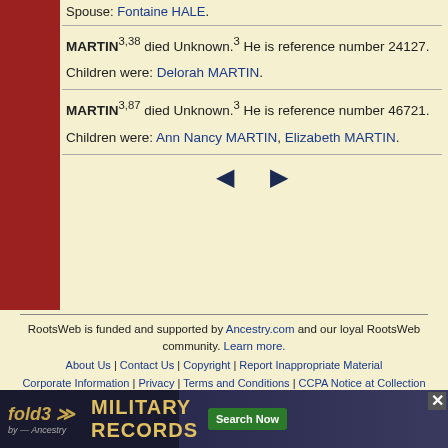Spouse: Fontaine HALE.
MARTIN3,38 died Unknown.3 He is reference number 24127.
Children were: Delorah MARTIN.
MARTIN3,87 died Unknown.3 He is reference number 46721.
Children were: Ann Nancy MARTIN, Elizabeth MARTIN.
[Figure (other): Navigation arrows pointing left and right]
RootsWeb is funded and supported by Ancestry.com and our loyal RootsWeb community. Learn more. About Us | Contact Us | Copyright | Report Inappropriate Material | Corporate Information | Privacy | Terms and Conditions | CCPA Notice at Collection
[Figure (other): fold3 Military Records advertisement banner by Ancestry]